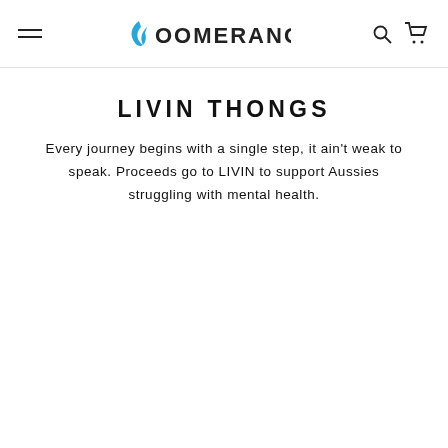BOOMERANGZ
LIVIN THONGS
Every journey begins with a single step, it ain't weak to speak. Proceeds go to LIVIN to support Aussies struggling with mental health.